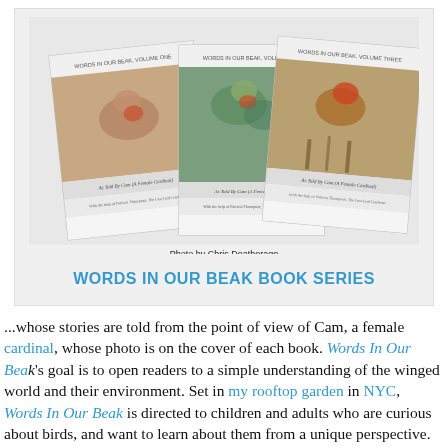[Figure (photo): Three book covers of 'Words In Our Beak' series (Volume One, Two, Three), each showing a female cardinal bird photograph. Photo credit: Photo by Chris Deatherage.]
Photo by Chris Deatherage
WORDS IN OUR BEAK BOOK SERIES
...whose stories are told from the point of view of Cam, a female cardinal, whose photo is on the cover of each book. Words In Our Beak's goal is to open readers to a simple understanding of the winged world and their environment. Set in my rooftop garden in NYC, Words In Our Beak is directed to children and adults who are curious about birds, and want to learn about them from a unique perspective. The books include hundreds of images of flora and fauna, links to movies, as well as to informative